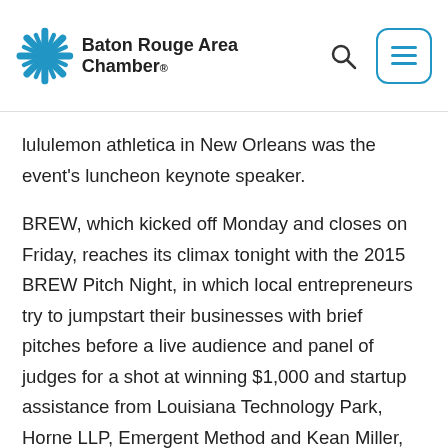Baton Rouge Area Chamber.
lululemon athletica in New Orleans was the event's luncheon keynote speaker.
BREW, which kicked off Monday and closes on Friday, reaches its climax tonight with the 2015 BREW Pitch Night, in which local entrepreneurs try to jumpstart their businesses with brief pitches before a live audience and panel of judges for a shot at winning $1,000 and startup assistance from Louisiana Technology Park, Horne LLP, Emergent Method and Kean Miller, among others. The event takes place at Creative Bloc downtown, beginning at 6:30 p.m. Tickets are $10 in advance or $15 at the door.
On Wednesday morning, BRAC unveiled its 2016 Economic Outlook in conjunction with BREW, and on Tuesday